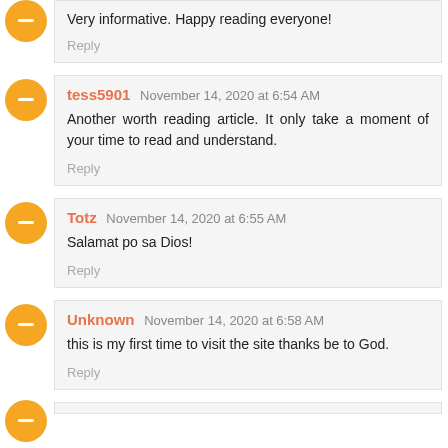Very informative. Happy reading everyone!
Reply
tess5901 November 14, 2020 at 6:54 AM
Another worth reading article. It only take a moment of your time to read and understand.
Reply
Totz November 14, 2020 at 6:55 AM
Salamat po sa Dios!
Reply
Unknown November 14, 2020 at 6:58 AM
this is my first time to visit the site thanks be to God.
Reply